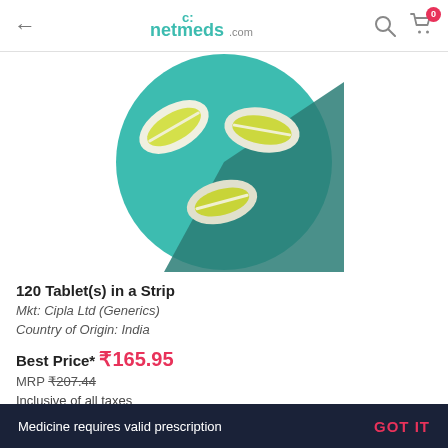netmeds.com
[Figure (illustration): Circular illustration on teal/turquoise background showing three yellow oval tablets/pills with white markings]
120 Tablet(s) in a Strip
Mkt: Cipla Ltd (Generics)
Country of Origin: India
Best Price* ₹165.95
MRP ₹207.44
Inclusive of all taxes
* Get the best price on this product on orders above Rs 1199
Medicine requires valid prescription   GOT IT